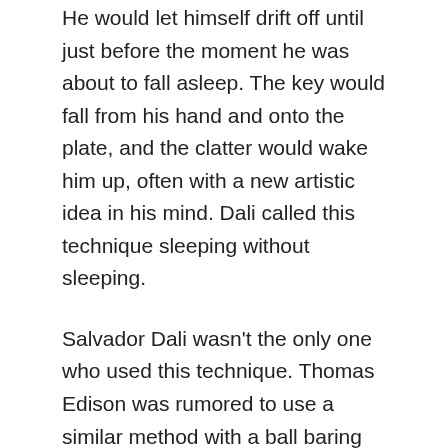He would let himself drift off until just before the moment he was about to fall asleep. The key would fall from his hand and onto the plate, and the clatter would wake him up, often with a new artistic idea in his mind. Dali called this technique sleeping without sleeping.
Salvador Dali wasn't the only one who used this technique. Thomas Edison was rumored to use a similar method with a ball baring instead of a key. Beethoven was fond of taking naps in his carriage in order to get new musical ideas.
All of these people knew the benefits of an afternoon nap.
The 20 Minute Afternoon Power Nap is the Best Productivity Technique Ever